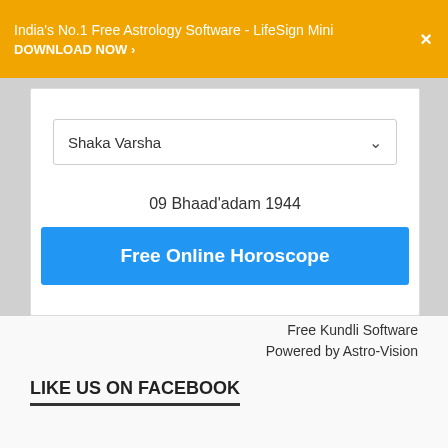India's No.1 Free Astrology Software - LifeSign Mini
DOWNLOAD NOW ›
Shaka Varsha
09 Bhaad'adam 1944
Free Online Horoscope
Free Kundli Software
Powered by Astro-Vision
LIKE US ON FACEBOOK